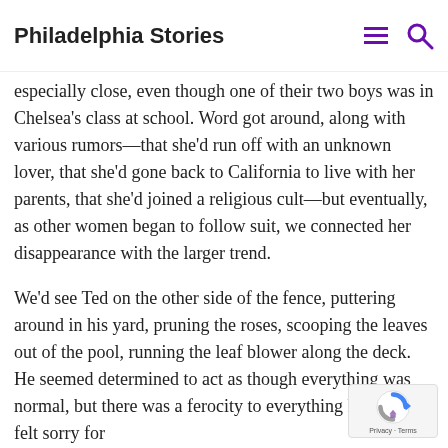Philadelphia Stories
Deirdre Hendricks, Ted’s wife, was the first to go. We knew them, of course, but weren’t especially close, even though one of their two boys was in Chelsea’s class at school. Word got around, along with various rumors—that she’d run off with an unknown lover, that she’d gone back to California to live with her parents, that she’d joined a religious cult—but eventually, as other women began to follow suit, we connected her disappearance with the larger trend.
We’d see Ted on the other side of the fence, puttering around in his yard, pruning the roses, scooping the leaves out of the pool, running the leaf blower along the deck. He seemed determined to act as though everything was normal, but there was a ferocity to everything he did. I felt sorry for